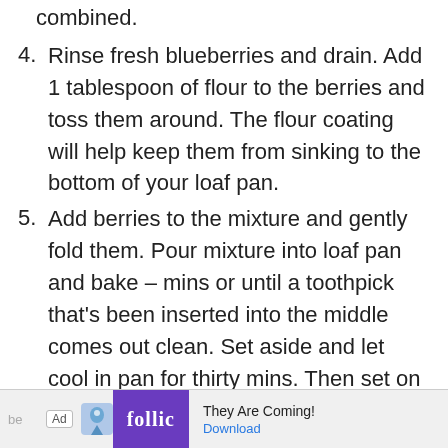4. Rinse fresh blueberries and drain. Add 1 tablespoon of flour to the berries and toss them around. The flour coating will help keep them from sinking to the bottom of your loaf pan.
5. Add berries to the mixture and gently fold them. Pour mixture into loaf pan and bake – mins or until a toothpick that’s been inserted into the middle comes out clean. Set aside and let cool in pan for thirty mins. Then set on a cooling rack.
6. GLAZE:
7. Whisk together all ingredients and drizzle over your loaf. Allow it to settle for a few mins
[Figure (other): Advertisement banner at the bottom of the page showing 'Ad' badge, Follic app icon in purple, 'They Are Coming!' text, and a 'Download' link in blue.]